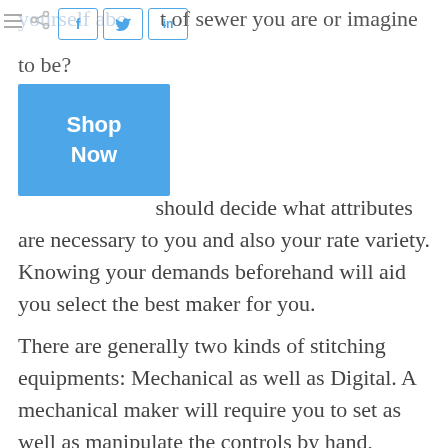yourself about what t of sewer you are or imagine to be?
[Figure (other): Social share buttons: hamburger menu, share icon, Facebook (f), Twitter (bird), LinkedIn (in)]
[Figure (other): Blue Shop Now button]
should decide what attributes are necessary to you and also your rate variety. Knowing your demands beforehand will aid you select the best maker for you.
There are generally two kinds of stitching equipments: Mechanical as well as Digital. A mechanical maker will require you to set as well as manipulate the controls by hand, carrying out basic sewing jobs such as threading the needle, stitch size, hemming, creating buttonholes together with standard